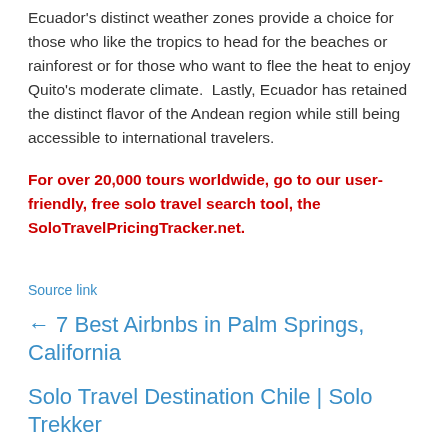Ecuador's distinct weather zones provide a choice for those who like the tropics to head for the beaches or rainforest or for those who want to flee the heat to enjoy Quito's moderate climate.  Lastly, Ecuador has retained the distinct flavor of the Andean region while still being accessible to international travelers.
For over 20,000 tours worldwide, go to our user-friendly, free solo travel search tool, the SoloTravelPricingTracker.net.
Source link
← 7 Best Airbnbs in Palm Springs, California
Solo Travel Destination Chile | Solo Trekker